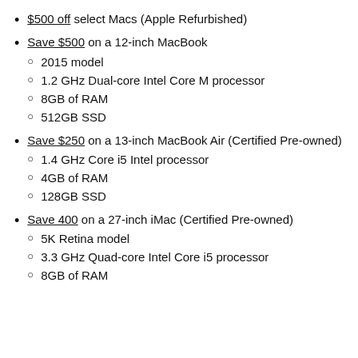$500 off select Macs (Apple Refurbished)
Save $500 on a 12-inch MacBook
2015 model
1.2 GHz Dual-core Intel Core M processor
8GB of RAM
512GB SSD
Save $250 on a 13-inch MacBook Air (Certified Pre-owned)
1.4 GHz Core i5 Intel processor
4GB of RAM
128GB SSD
Save 400 on a 27-inch iMac (Certified Pre-owned)
5K Retina model
3.3 GHz Quad-core Intel Core i5 processor
8GB of RAM